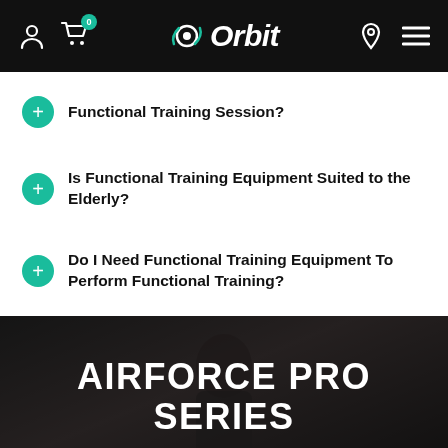Orbit — navigation bar with cart (0), logo, location and menu icons
Functional Training Session?
Is Functional Training Equipment Suited to the Elderly?
Do I Need Functional Training Equipment To Perform Functional Training?
[Figure (photo): Dark, moody photograph of a woman exercising with resistance cables in a gym setting, overlaid with promotional text for the Airforce Pro Series.]
AIRFORCE PRO SERIES
Our NEW Self Generating Commercial Cardio Suite. Build Power & Strength while